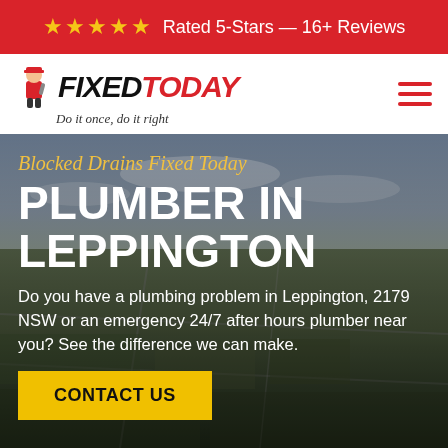★★★★★ Rated 5-Stars — 16+ Reviews
[Figure (logo): Fixed Today plumber logo with cartoon plumber figure and tagline 'Do it once, do it right']
[Figure (screenshot): Aerial photograph of Leppington NSW suburb with fields and roads visible from above]
Blocked Drains Fixed Today
PLUMBER IN LEPPINGTON
Do you have a plumbing problem in Leppington, 2179 NSW or an emergency 24/7 after hours plumber near you? See the difference we can make.
CONTACT US